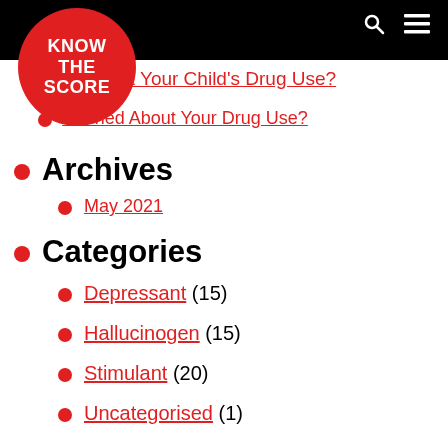Know The Score
…ed About Your Child's Drug Use?
Worried About Your Drug Use?
Archives
May 2021
Categories
Depressant (15)
Hallucinogen (15)
Stimulant (20)
Uncategorised (1)